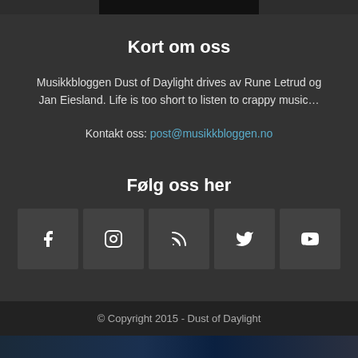Kort om oss
Musikkbloggen Dust of Daylight drives av Rune Letrud og Jan Eiesland. Life is too short to listen to crappy music...
Kontakt oss: post@musikkbloggen.no
Følg oss her
[Figure (other): Five social media icon buttons: Facebook, Instagram, RSS, Twitter, YouTube]
© Copyright 2015 - Dust of Daylight